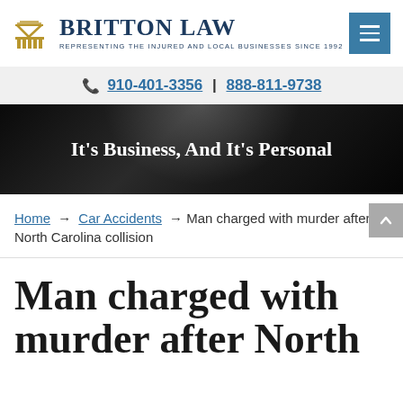BRITTON LAW — REPRESENTING THE INJURED AND LOCAL BUSINESSES SINCE 1992
910-401-3356 | 888-811-9738
[Figure (screenshot): Dark hero banner with spotlight effect]
It's Business, And It's Personal
Home → Car Accidents → Man charged with murder after North Carolina collision
Man charged with murder after North